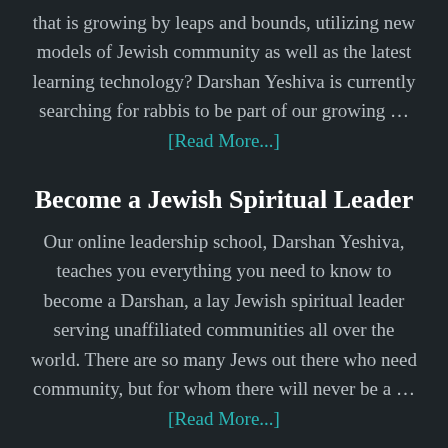that is growing by leaps and bounds, utilizing new models of Jewish community as well as the latest learning technology? Darshan Yeshiva is currently searching for rabbis to be part of our growing … [Read More...]
Become a Jewish Spiritual Leader
Our online leadership school, Darshan Yeshiva, teaches you everything you need to know to become a Darshan, a lay Jewish spiritual leader serving unaffiliated communities all over the world. There are so many Jews out there who need community, but for whom there will never be a … [Read More...]